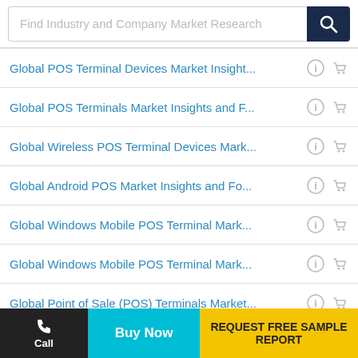[Figure (screenshot): Search bar with placeholder text 'Find Industry and Company Market Research' and a dark navy search button with magnifying glass icon]
Global POS Terminal Devices Market Insight...
Global POS Terminals Market Insights and F...
Global Wireless POS Terminal Devices Mark...
Global Android POS Market Insights and Fo...
Global Windows Mobile POS Terminal Mark...
Global Windows Mobile POS Terminal Mark...
Global Point of Sale (POS) Terminals Market...
Global and Japan Windows Mobile POS Ter...
Global Point of Sale (POS) Terminals Market...
Call | Buy Now | REQUEST FREE SAMPLE REPORT